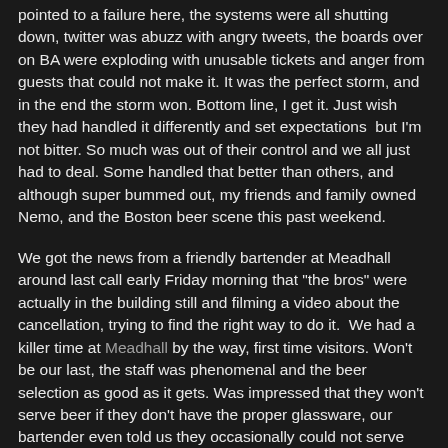pointed to a failure here, the systems were all shutting down, twitter was abuzz with angry tweets, the boards over on BA were exploding with unusable tickets and anger from guests that could not make it. It was the perfect storm, and in the end the storm won. Bottom line, I get it. Just wish they had handled it differently and set expectations  but I'm not bitter. So much was out of their control and we all just had to deal. Some handled that better than others, and although super bummed out, my friends and family owned Nemo, and the Boston beer scene this past weekend.
We got the news from a friendly bartender at Meadhall around last call early Friday morning that "the bros" were actually in the building still and filming a video about the cancellation, trying to find the right way to do it.  We had a killer time at Meadhall by the way, first time visitors. Won't be our last, the staff was phenomenal and the beer selection as good as it gets. Was impressed that they won't serve beer if they don't have the proper glassware, our bartender even told us they occasionally could not serve something if all the glasses were being used. Love it.